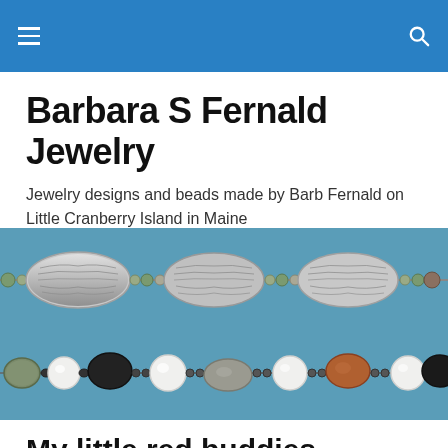Barbara S Fernald Jewelry — navigation bar
Barbara S Fernald Jewelry
Jewelry designs and beads made by Barb Fernald on Little Cranberry Island in Maine
[Figure (photo): Close-up photo of two strands of handmade jewelry on a blue-teal background. Top strand features large oval textured silver beads with leaf/woven patterns interspersed with small green and silver beads. Bottom strand features irregular natural stones (grey, black, brown, amber) with white pearl beads and small dark spacer beads.]
My little red buddies
I've kept my bird feeder full all summer, fall, and into winter in hopes that the cardinals who showed up in the spring